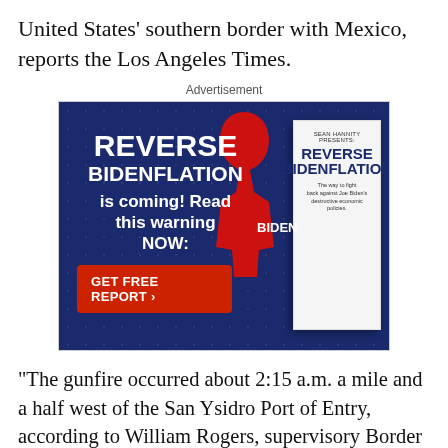United States' southern border with Mexico, reports the Los Angeles Times.
Advertisement
[Figure (infographic): Advertisement banner for 'Reverse Bidenflation' report by Sean Hannity, with a dark blue background, red silhouette of a face, a book cover showing 'SEAN HANNITY PRESENTS: REVERSE BIDENFLATION – The way to fight back against Joe Biden's destructive economic policies', bold white text reading 'REVERSE BIDENFLATION is coming! Read this warning NOW:', and a red button labeled 'GET FREE REPORT ›'.]
“The gunfire occurred about 2:15 a.m. a mile and a half west of the San Ysidro Port of Entry, according to William Rogers, supervisory Border Patrol agent with the San Diego Sector.